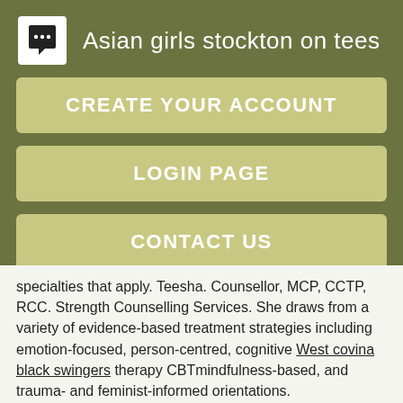Asian girls stockton on tees
CREATE YOUR ACCOUNT
LOGIN PAGE
CONTACT US
specialties that apply. Teesha. Counsellor, MCP, CCTP, RCC. Strength Counselling Services. She draws from a variety of evidence-based treatment strategies including emotion-focused, person-centred, cognitive West covina black swingers therapy CBTmindfulness-based, and trauma- and feminist-informed orientations.
Throughout my career I have had the opportunity to work with a wide range of clients.